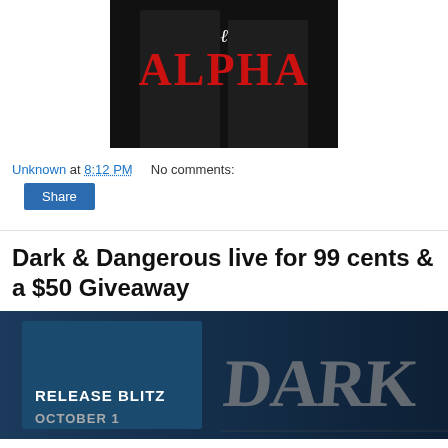[Figure (photo): Book cover showing 'ALPHA' in large red letters on dark background with suited figures]
Unknown at 8:12 PM    No comments:
[Figure (screenshot): Button labeled 'Share']
Dark & Dangerous live for 99 cents & a $50 Giveaway
[Figure (photo): Release blitz banner with dark blue background showing 'RELEASE BLITZ OCTOBER' text and graffiti-style 'DARK' lettering]